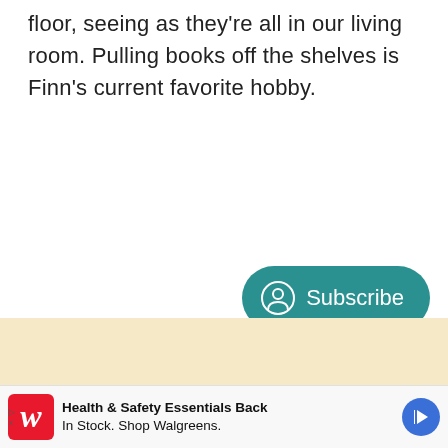floor, seeing as they're all in our living room. Pulling books off the shelves is Finn's current favorite hobby.
[Figure (other): Subscribe button with user/person icon in teal/dark-cyan rounded pill shape]
[Figure (photo): Partial view of an image with a light tan/cream colored background, bottom portion of page]
Health & Safety Essentials Back In Stock. Shop Walgreens.